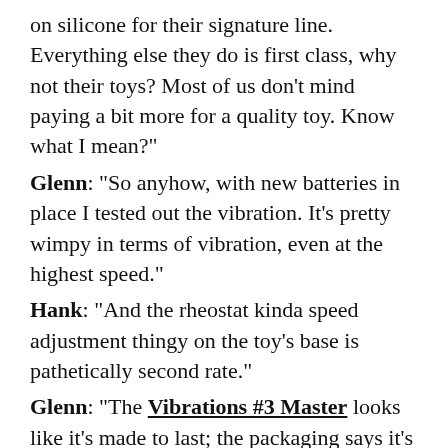on silicone for their signature line. Everything else they do is first class, why not their toys? Most of us don't mind paying a bit more for a quality toy. Know what I mean?"
Glenn: "So anyhow, with new batteries in place I tested out the vibration. It's pretty wimpy in terms of vibration, even at the highest speed."
Hank: "And the rheostat kinda speed adjustment thingy on the toy's base is pathetically second rate."
Glenn: "The Vibrations #3 Master looks like it's made to last; the packaging says it's indestructible. That's bull-oney! Closer inspection shows it to be a cheap crummy toy. But then again, ya can't really expect otherwise for $20."
Hank: "I hate when this happens. We both were so psyched to finally own one of these toys. But in the end, it was disappointment-ville all the way. Come on Titan; you surely can do better than this."